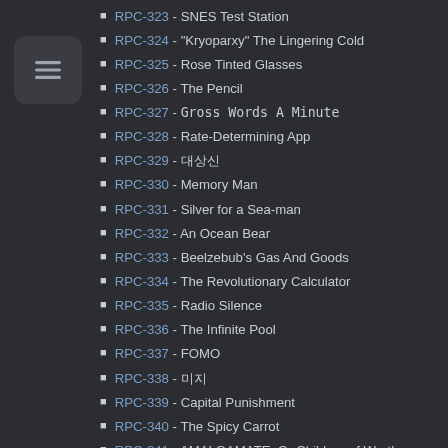[Figure (other): Menu icon button with three horizontal lines on a dark rounded square background]
RPC-323 - SNES Test Station
RPC-324 - "Kryoparxy" The Lingering Cold
RPC-325 - Rose Tinted Glasses
RPC-326 - The Pencil
RPC-327 - Gross Words A Minute
RPC-328 - Rate-Determining App
RPC-329 - 대상신
RPC-330 - Memory Man
RPC-331 - Silver for a Sea-man
RPC-332 - An Ocean Bear
RPC-333 - Beelzebub's Gas And Goods
RPC-334 - The Revolutionary Calculator
RPC-335 - Radio Silence
RPC-336 - The Infinite Pool
RPC-337 - FOMO
RPC-338 - 미지
RPC-339 - Capital Punishment
RPC-340 - The Spicy Carrot
RPC-341 - AMALGAMATE, Or Children of Wrath
RPC-342 - The One It Knows
RPC-343 - Faceless Deer
RPC-344 - Two Variations on the Term "Chest", Op. 20, for Solo Human
RPC-345 - Scwupnuh
RPC-346 - 대상신
RPC-347 - Tetractomorph
RPC-348 - A Molten Blade
RPC-349 - Chasers